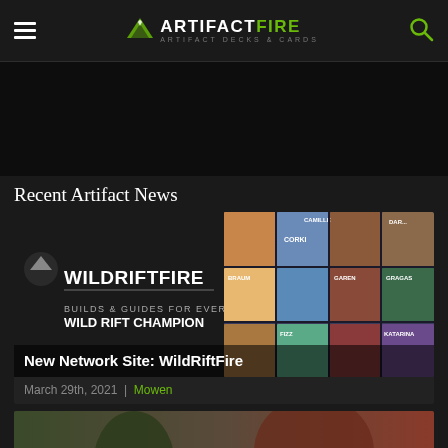ARTIFACTFIRE - ARTIFACT DECKS & CARDS
[Figure (other): Dark advertisement banner area]
Recent Artifact News
[Figure (screenshot): WildRiftFire banner showing champion grid with text: WILDRIFTFIRE, BUILDS & GUIDES FOR EVERY WILD RIFT CHAMPION]
New Network Site: WildRiftFire
March 29th, 2021 | Mowen
[Figure (screenshot): Artifact card game screenshot showing game characters with Lira nameplate]